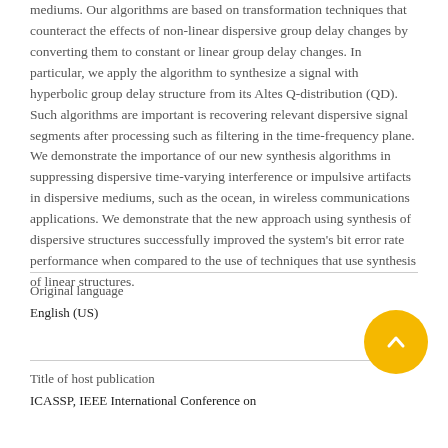mediums. Our algorithms are based on transformation techniques that counteract the effects of non-linear dispersive group delay changes by converting them to constant or linear group delay changes. In particular, we apply the algorithm to synthesize a signal with hyperbolic group delay structure from its Altes Q-distribution (QD). Such algorithms are important is recovering relevant dispersive signal segments after processing such as filtering in the time-frequency plane. We demonstrate the importance of our new synthesis algorithms in suppressing dispersive time-varying interference or impulsive artifacts in dispersive mediums, such as the ocean, in wireless communications applications. We demonstrate that the new approach using synthesis of dispersive structures successfully improved the system's bit error rate performance when compared to the use of techniques that use synthesis of linear structures.
Original language
English (US)
Title of host publication
ICASSP, IEEE International Conference on